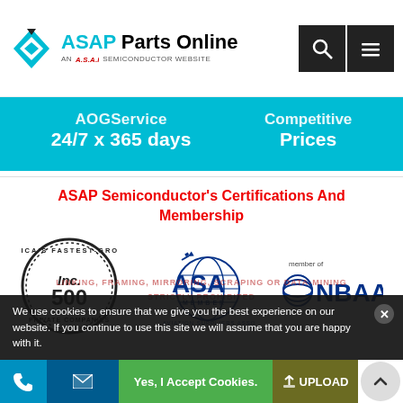ASAP Parts Online — AN A.S.A.P SEMICONDUCTOR WEBSITE
AOGService 24/7 x 365 days | Competitive Prices
ASAP Semiconductor's Certifications And Membership
[Figure (logo): Inc. 500 America's Fastest-Growing Private Companies badge]
[Figure (logo): ASA Member - Aviation Suppliers Association logo]
[Figure (logo): member of NBAA logo]
We use cookies to ensure that we give you the best experience on our website. If you continue to use this site we will assume that you are happy with it.
LINKING, FRAMING, MIRRORING, SCRAPING OR DATA-MINING STRICTLY PROHIBITED
Yes, I Accept Cookies. | UPLOAD